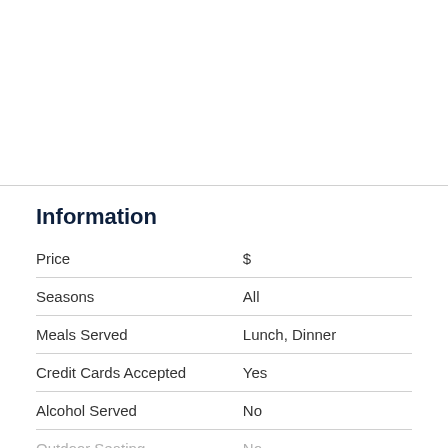Information
|  |  |
| --- | --- |
| Price | $ |
| Seasons | All |
| Meals Served | Lunch, Dinner |
| Credit Cards Accepted | Yes |
| Alcohol Served | No |
| Outdoor Seating | No |